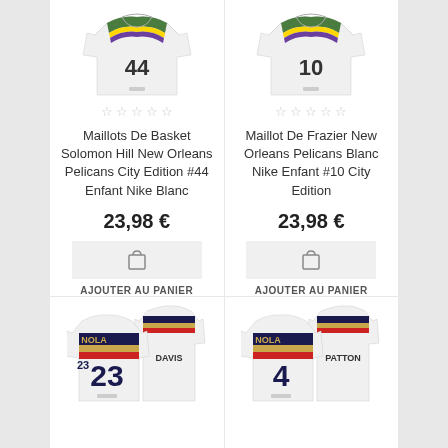[Figure (photo): White basketball jersey with number 44 and mardi gras colors (green/gold/purple) stripe at top, New Orleans Pelicans]
[Figure (photo): White basketball jersey with number 10 and mardi gras colors stripe at top, New Orleans Pelicans]
☆ ☆ ☆ ☆ ☆
☆ ☆ ☆ ☆ ☆
Maillots De Basket Solomon Hill New Orleans Pelicans City Edition #44 Enfant Nike Blanc
Maillot De Frazier New Orleans Pelicans Blanc Nike Enfant #10 City Edition
23,98 €
23,98 €
AJOUTER AU PANIER
AJOUTER AU PANIER
[Figure (photo): White basketball jersey with NOLA and DAVIS #23 with colored stripes, New Orleans Pelicans statement edition]
[Figure (photo): White basketball jersey with NOLA and PATTON #4 with colored stripes, New Orleans Pelicans statement edition]